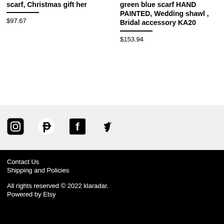scarf, Christmas gift her
$97.67
green blue scarf HAND PAINTED, Wedding shawl , Bridal accessory KA20
$153.94
[Figure (other): Social media icons: Instagram, Pinterest, Facebook, Twitter]
Contact Us
Shipping and Policies
All rights reserved © 2022 klaradar.
Powered by Etsy